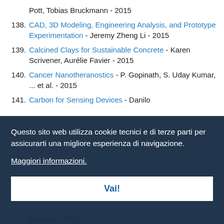Pott, Tobias Bruckmann - 2015
138. CAD, 3D Modeling, Engineering Analysis, and Prototype Experimentation - Jeremy Zheng Li - 2015
139. Calcined Clays for Sustainable Concrete - Karen Scrivener, Aurélie Favier - 2015
140. Cancer Nanotheranostics - P. Gopinath, S. Uday Kumar, ... et al. - 2015
141. Carbon for Sensing Devices - Danilo
142.
143.
144.
[Figure (screenshot): Cookie consent overlay in Italian reading: Questo sito web utilizza cookie tecnici e di terze parti per assicurarti una migliore esperienza di navigazione. Maggiori informazioni. With a 'Vai!' button.]
Montlaur - 2015